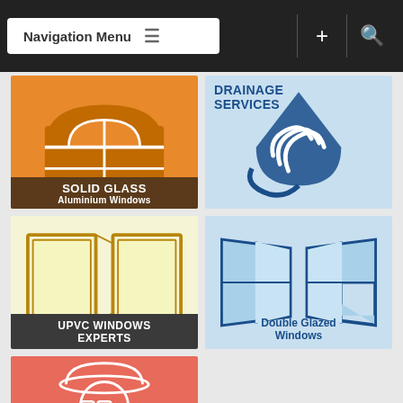Navigation Menu
[Figure (illustration): Solid Glass Aluminium Windows tile - orange background with arched window icon]
[Figure (illustration): Drainage Services tile - light blue background with water drop icon]
[Figure (illustration): UPVC Windows Experts tile - light yellow background with open window icon]
[Figure (illustration): Double Glazed Windows tile - light blue background with double window icon]
[Figure (illustration): Private Investigator tile - coral/red background with detective figure icon]